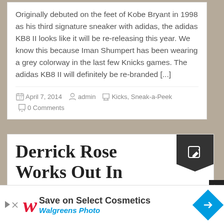Originally debuted on the feet of Kobe Bryant in 1998 as his third signature sneaker with adidas, the adidas KB8 II looks like it will be re-releasing this year. We know this because Iman Shumpert has been wearing a grey colorway in the last few Knicks games. The adidas KB8 II will definitely be re-branded [...]
April 7, 2014  admin  Kicks, Sneak-a-Peek  0 Comments
Derrick Rose Works Out In Upcoming adidas D Rose 5
Save on Select Cosmetics  Walgreens Photo